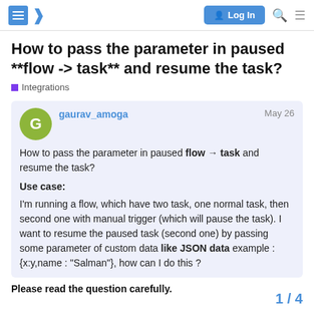Log In (navigation bar with hamburger menu, logo, search icon, menu icon)
How to pass the parameter in paused **flow -> task** and resume the task?
Integrations
gaurav_amoga  May 26
How to pass the parameter in paused flow → task and resume the task?

Use case:
I'm running a flow, which have two task, one normal task, then second one with manual trigger (which will pause the task).
I want to resume the paused task (second one) by passing some parameter of custom data like JSON data example : {x:y,name : "Salman"}, how can I do this ?

Please read the question carefully.
1 / 4